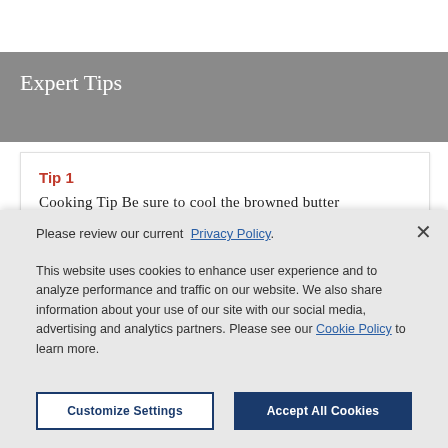Expert Tips
Tip 1
Cooking Tip Be sure to cool the browned butter
Please review our current Privacy Policy .
This website uses cookies to enhance user experience and to analyze performance and traffic on our website. We also share information about your use of our site with our social media, advertising and analytics partners. Please see our Cookie Policy to learn more.
Customize Settings
Accept All Cookies